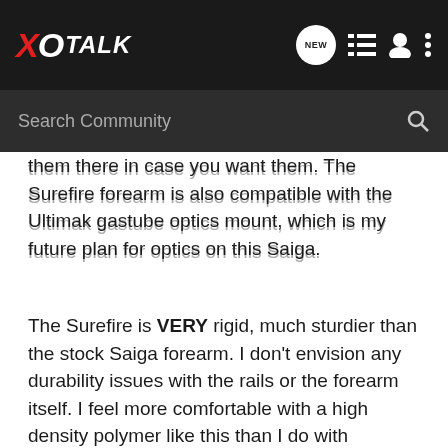XO TALK
them there in case you want them. The Surefire forearm is also compatible with the Ultimak gastube optics mount, which is my future plan for optics on this Saiga.
The Surefire is VERY rigid, much sturdier than the stock Saiga forearm. I don't envision any durability issues with the rails or the forearm itself. I feel more comfortable with a high density polymer like this than I do with aluminum. The polymer may get scuffs or dings, but I don't think it will bend like aluminum will.
I felt early on I wasn't going to be a respectable citizen. -- Cormac McCarthy
We are hard p...t not
[Figure (other): Bass Pro Shops RELOADING SUPPLIES advertisement banner with SHOP NOW button]